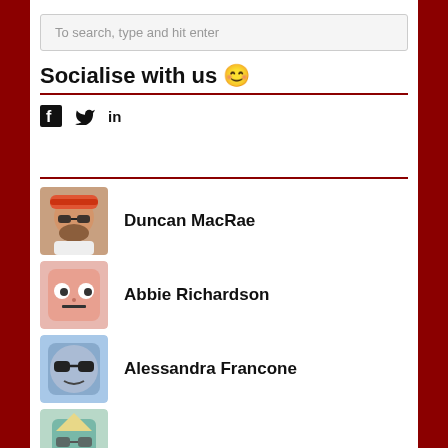To search, type and hit enter
Socialise with us 😊
[Figure (other): Social media icons: Facebook, Twitter, LinkedIn]
Duncan MacRae
Abbie Richardson
Alessandra Francone